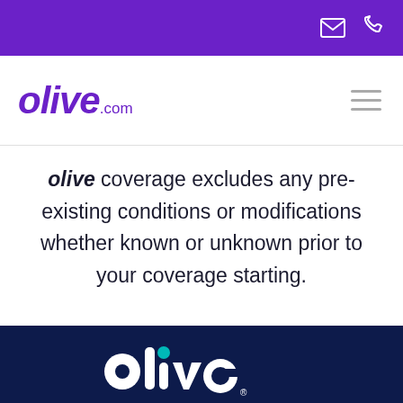olive.com — navigation bar with email and phone icons
[Figure (logo): olive.com logo in purple italic bold text]
olive coverage excludes any pre-existing conditions or modifications whether known or unknown prior to your coverage starting.
[Figure (logo): olive logo in white on dark navy blue background with teal dot on the letter i]